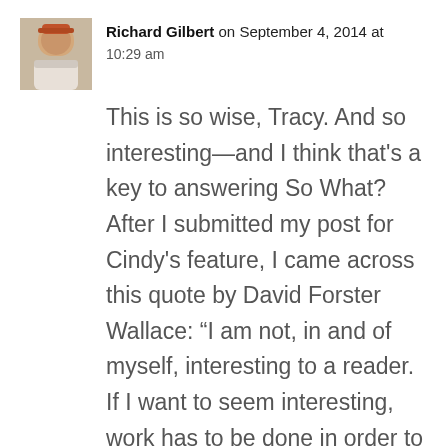Richard Gilbert on September 4, 2014 at 10:29 am
This is so wise, Tracy. And so interesting—and I think that's a key to answering So What? After I submitted my post for Cindy's feature, I came across this quote by David Forster Wallace: “I am not, in and of myself, interesting to a reader. If I want to seem interesting, work has to be done in order to make myself interesting.”